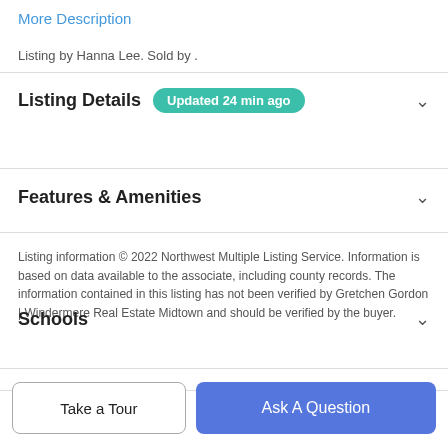More Description
Listing by Hanna Lee. Sold by .
Listing Details  Updated 24 min ago
Features & Amenities
Listing information © 2022 Northwest Multiple Listing Service. Information is based on data available to the associate, including county records. The information contained in this listing has not been verified by Gretchen Gordon | Windermere Real Estate Midtown and should be verified by the buyer.
Schools
Take a Tour
Ask A Question